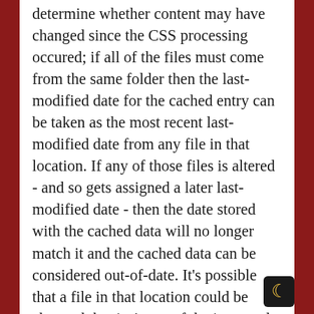determine whether content may have changed since the CSS processing occured; if all of the files must come from the same folder then the last-modified date for the cached entry can be taken as the most recent last-modified date from any file in that location. If any of those files is altered - and so gets assigned a later last-modified date - then the date stored with the cached data will no longer match it and the cached data can be considered out-of-date. It's possible that a file in that location could be changed that isn't one of the imported files for a given stylesheet request, meaning that cached data gets identified as expired when it hasn't been but the alternative would be following all of the import declarations and, again, a lot of the performance serving files for this from